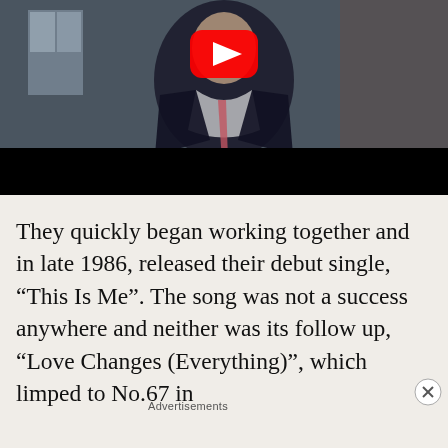[Figure (screenshot): YouTube video thumbnail showing a person in a dark jacket and tie against a brick wall background, with a YouTube play button overlay. Bottom portion of video is black.]
They quickly began working together and in late 1986, released their debut single, “This Is Me”. The song was not a success anywhere and neither was its follow up, “Love Changes (Everything)”, which limped to No.67 in
Advertisements